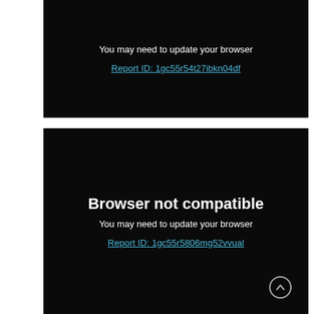You may need to update your browser
Report ID: 1gc55r54t27ibkn04df
Browser not compatible
You may need to update your browser
Report ID: 1gc55r5806mg52vvual